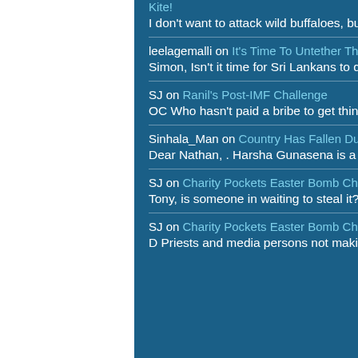It's Time To Untether The Kite! — I don't want to attack wild buffaloes, but Champa's nature is not
leelagemalli on It's Time To Untether The Kite! — Simon, Isn't it time for Sri Lankans to question again and again
SJ on Ranil's Post-IMF Challenge — OC Who hasn't paid a bribe to get things done? People with
Sinhala_Man on Country Has Fallen Due To The Socialist Thinking — Dear Nathan, . Harsha Gunasena is a very honest man. I'm glad
SJ on Charity Pockets Easter Bomb Child Victim's Funds — Tony, is someone in waiting to steal it?
SJ on Charity Pockets Easter Bomb Child Victim's Funds — D Priests and media persons not making up